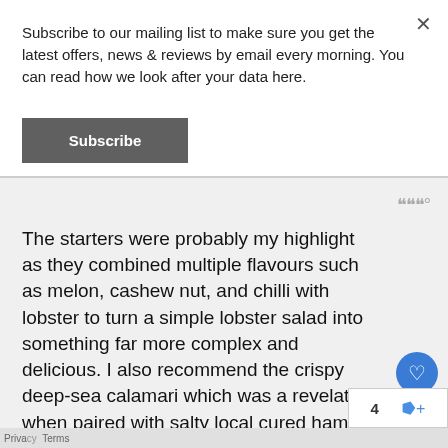Subscribe to our mailing list to make sure you get the latest offers, news & reviews by email every morning. You can read how we look after your data here.
Subscribe
The starters were probably my highlight as they combined multiple flavours such as melon, cashew nut, and chilli with lobster to turn a simple lobster salad into something far more complex and delicious. I also recommend the crispy deep-sea calamari which was a revelation when paired with salty local cured ham and a honey and balsamic dressed salad.